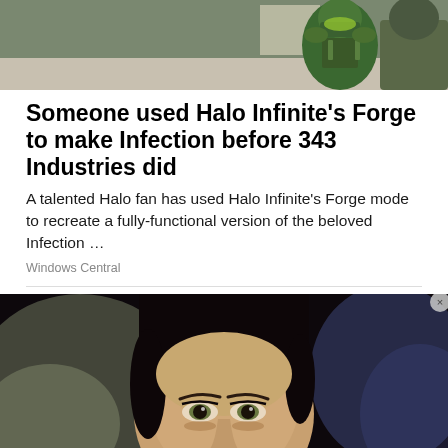[Figure (photo): Top portion of a Halo game character (Master Chief in green armor) in a room setting, cropped to show upper body]
Someone used Halo Infinite's Forge to make Infection before 343 Industries did
A talented Halo fan has used Halo Infinite's Forge mode to recreate a fully-functional version of the beloved Infection …
Windows Central
[Figure (photo): Close-up photo of a woman's face with dark hair pulled back, looking directly at camera with a neutral expression, bokeh background]
[Figure (infographic): MAC Cosmetics advertisement banner showing colorful lipsticks on left and right sides, MAC logo in center, and 'SHOP NOW' button]